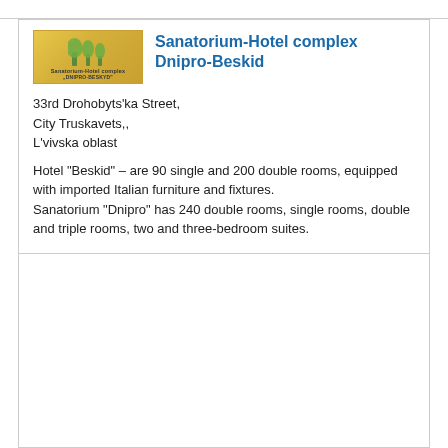[Figure (logo): Logo of Sanatorium-Hotel complex Dnipro-Beskid, yellow/gold background with stylized icon and text]
Sanatorium-Hotel complex Dnipro-Beskid
33rd Drohobyts'ka Street,
City Truskavets,,
L'vivska oblast
Hotel "Beskid" – are 90 single and 200 double rooms, equipped with imported Italian furniture and fixtures.
Sanatorium "Dnipro" has 240 double rooms, single rooms, double and triple rooms, two and three-bedroom suites.